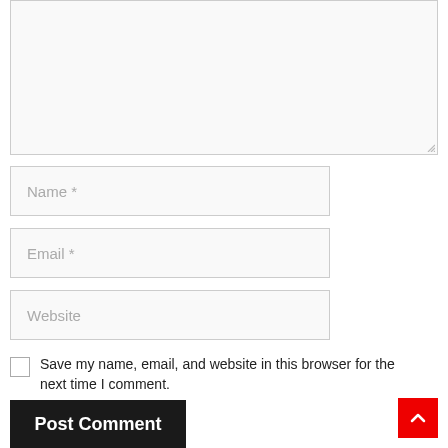[Figure (screenshot): Empty textarea input box with light gray background and resize handle at bottom-right corner]
Name *
Email *
Website
Save my name, email, and website in this browser for the next time I comment.
Post Comment
[Figure (other): Red scroll-to-top button with white chevron arrow pointing up]